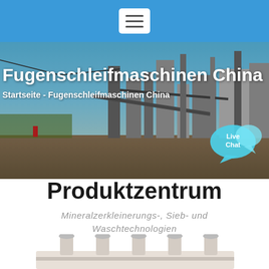[Figure (screenshot): Blue header navigation bar with white hamburger menu button containing three horizontal lines]
[Figure (photo): Industrial mining/crushing plant facility with machinery and structures under blue sky, used as hero banner background]
Fugenschleifmaschinen China
Startseite - Fugenschleifmaschinen China
[Figure (illustration): Live Chat speech bubble icon in cyan/teal color with text 'Live Chat']
Produktzentrum
Mineralzerkleinerungs-, Sieb- und Waschtechnologien
[Figure (photo): Partial view of white industrial machine equipment with vertical cylindrical protrusions, cropped at bottom of page]